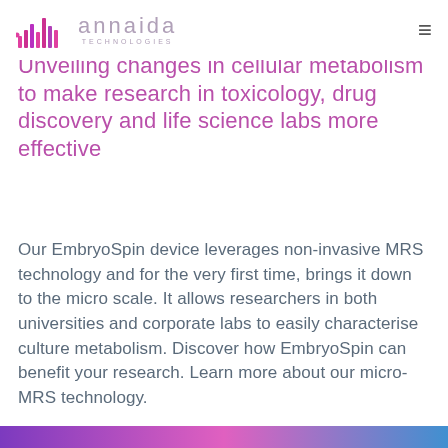ANNAIDA TECHNOLOGIES
Unveiling changes in cellular metabolism to make research in toxicology, drug discovery and life science labs more effective
Our EmbryoSpin device leverages non-invasive MRS technology and for the very first time, brings it down to the micro scale. It allows researchers in both universities and corporate labs to easily characterise culture metabolism. Discover how EmbryoSpin can benefit your research. Learn more about our micro-MRS technology.
[Figure (illustration): Colorful gradient banner strip at the bottom of the page (purple to pink to blue)]